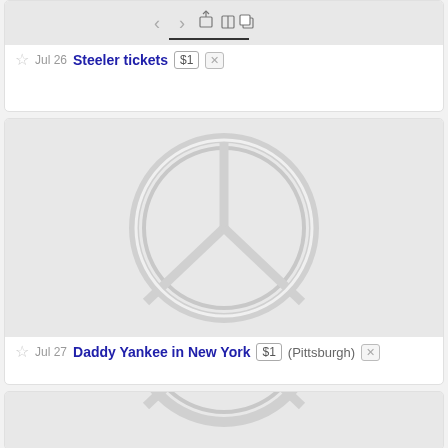[Figure (screenshot): Browser navigation toolbar with back, forward, share, bookmarks, copy icons and a progress bar underline]
Jul 26  Steeler tickets  $1  [x]
[Figure (illustration): Peace sign embossed/debossed image on light grey background]
Jul 27  Daddy Yankee in New York  $1  (Pittsburgh)  [x]
[Figure (illustration): Partial peace sign embossed/debossed image on light grey background, cropped at bottom]